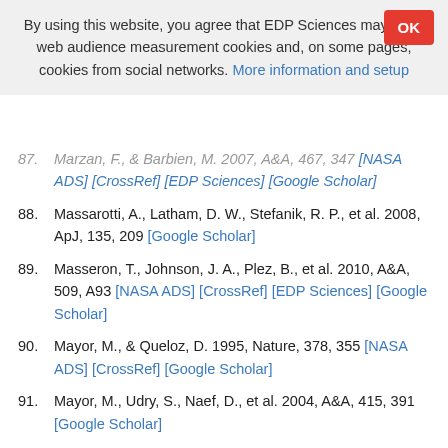By using this website, you agree that EDP Sciences may store web audience measurement cookies and, on some pages, cookies from social networks. More information and setup
87. Marzan, F., & Barbien, M. 2007, A&A, 467, 347 [NASA ADS] [CrossRef] [EDP Sciences] [Google Scholar]
88. Massarotti, A., Latham, D. W., Stefanik, R. P., et al. 2008, ApJ, 135, 209 [Google Scholar]
89. Masseron, T., Johnson, J. A., Plez, B., et al. 2010, A&A, 509, A93 [NASA ADS] [CrossRef] [EDP Sciences] [Google Scholar]
90. Mayor, M., & Queloz, D. 1995, Nature, 378, 355 [NASA ADS] [CrossRef] [Google Scholar]
91. Mayor, M., Udry, S., Naef, D., et al. 2004, A&A, 415, 391 [Google Scholar]
92. Mawet, D., Milli, J., Wahhaj, Z., et al. 2014, ApJ, 792, 97 [NASA ADS] [CrossRef] [Google Scholar]